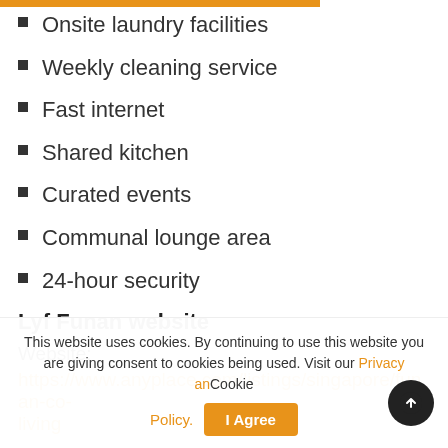Onsite laundry facilities
Weekly cleaning service
Fast internet
Shared kitchen
Curated events
Communal lounge area
24-hour security
Lyf Funan website
Website:
https://www.anyplace.com/listings/singapore/funan-co-living
This website uses cookies. By continuing to use this website you are giving consent to cookies being used. Visit our Privacy and Cookie Policy.